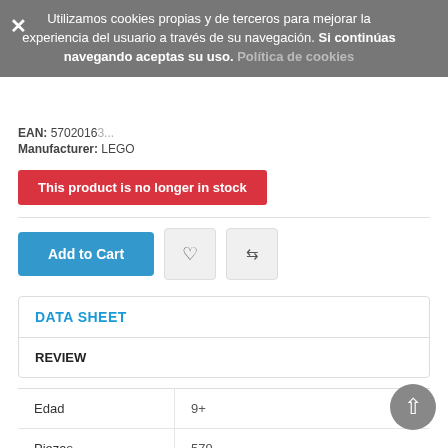Utilizamos cookies propias y de terceros para mejorar la experiencia del usuario a través de su navegación. Si continúas navegando aceptas su uso. Política de cookies
EAN: 5702016...
Manufacturer: LEGO
This product is no longer in stock
Add to Cart
DATA SHEET
REVIEW
|  |  |
| --- | --- |
| Edad | 9+ |
| Piezas | 579 |